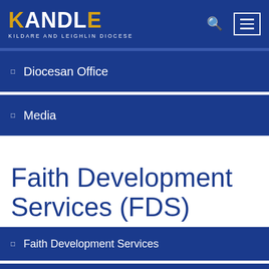KANDLE — KILDARE AND LEIGHLIN DIOCESE
Diocesan Office
Media
Faith Development Services (FDS)
Faith Development Services
Coordinator